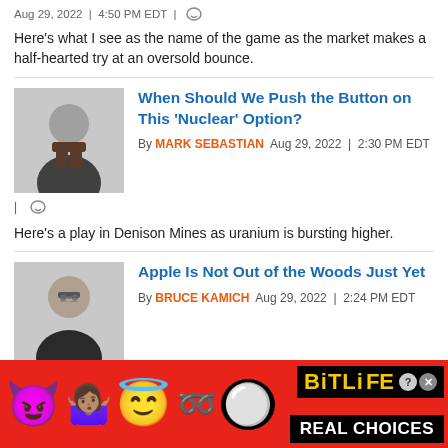Aug 29, 2022 | 4:50 PM EDT
Here's what I see as the name of the game as the market makes a half-hearted try at an oversold bounce.
When Should We Push the Button on This 'Nuclear' Option?
By MARK SEBASTIAN Aug 29, 2022 | 2:30 PM EDT
Here's a play in Denison Mines as uranium is bursting higher.
Apple Is Not Out of the Woods Just Yet
By BRUCE KAMICH Aug 29, 2022 | 2:24 PM EDT
Let's review the charts and indicators.
[Figure (photo): Advertisement banner for BitLife mobile game showing emoji characters and 'REAL CHOICES' text on red background]